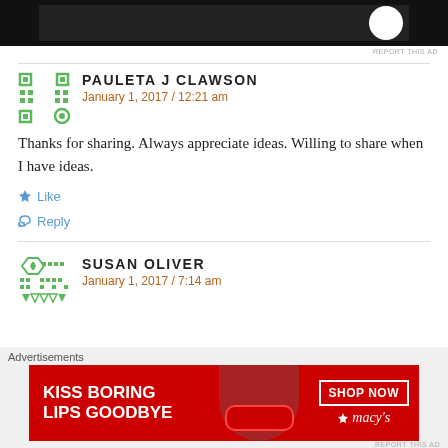[Figure (screenshot): Top advertisement banner with dark background and white circular element]
REPORT THIS AD
PAULETA J CLAWSON
January 1, 2017 / 12:21 am
Thanks for sharing. Always appreciate ideas. Willing to share when I have ideas.
Like
Reply
SUSAN OLIVER
January 1, 2017 / 7:14 am
Advertisements
[Figure (photo): Macy's advertisement: KISS BORING LIPS GOODBYE with woman's face and red lips, SHOP NOW button and Macy's star logo]
REPORT THIS AD